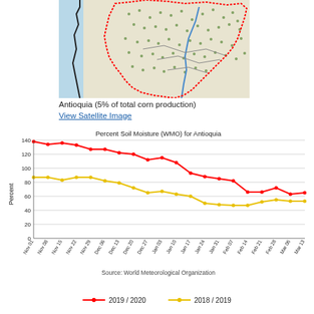[Figure (map): Map of Antioquia region in Colombia showing department boundaries with red dotted border outline and green vegetation markers on a light background with blue river line.]
Antioquia (5% of total corn production)
View Satellite Image
[Figure (line-chart): Percent Soil Moisture (WMO) for Antioquia]
Source: World Meteorological Organization